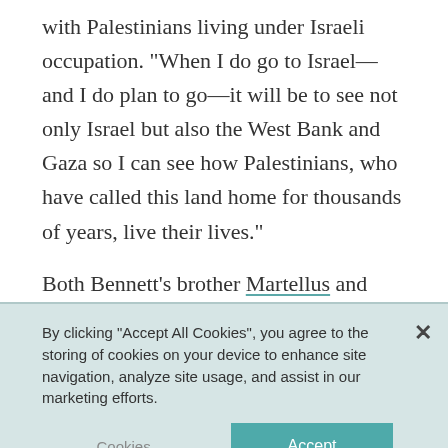with Palestinians living under Israeli occupation. “When I do go to Israel—and I do plan to go—it will be to see not only Israel but also the West Bank and Gaza so I can see how Palestinians, who have called this land home for thousands of years, live their lives.”
Both Bennett’s brother Martellus and Stills retweeted Bennett’s message. They were the only other players who provided an explanation for their absence.
By clicking “Accept All Cookies”, you agree to the storing of cookies on your device to enhance site navigation, analyze site usage, and assist in our marketing efforts.